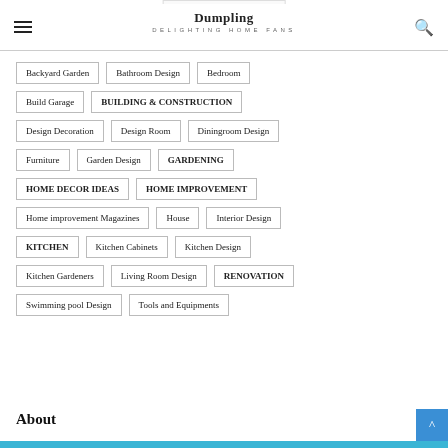Dumpling DELIGHTING HOME FANS
Backyard Garden
Bathroom Design
Bedroom
Build Garage
BUILDING & CONSTRUCTION
Design Decoration
Design Room
Diningroom Design
Furniture
Garden Design
GARDENING
HOME DECOR IDEAS
HOME IMPROVEMENT
Home improvement Magazines
House
Interior Design
KITCHEN
Kitchen Cabinets
Kitchen Design
Kitchen Gardeners
Living Room Design
RENOVATION
Swimming pool Design
Tools and Equipments
About